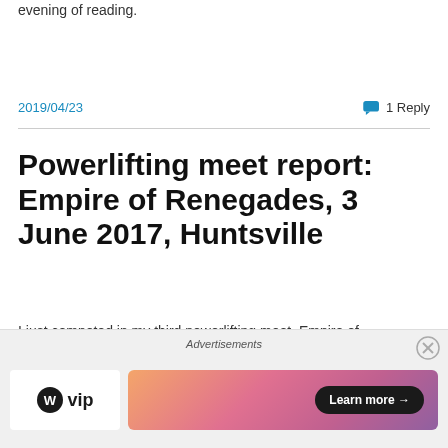evening of reading.
2019/04/23
1 Reply
Powerlifting meet report: Empire of Renegades, 3 June 2017, Huntsville
I just competed in my third powerlifting meet, Empire of Renegades. It was a blast!
Advertisements